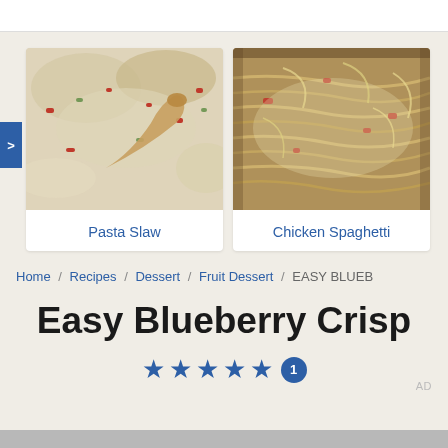[Figure (photo): Close-up photo of Pasta Slaw — macaroni pasta mixed with shredded cabbage, red peppers, and a creamy white dressing, served with a wooden spoon]
Pasta Slaw
[Figure (photo): Close-up photo of Chicken Spaghetti — baked spaghetti noodles with shredded chicken, diced red peppers, and melted cheese on top]
Chicken Spaghetti
Home / Recipes / Dessert / Fruit Dessert / EASY BLUEB
Easy Blueberry Crisp
★★★★★ 1